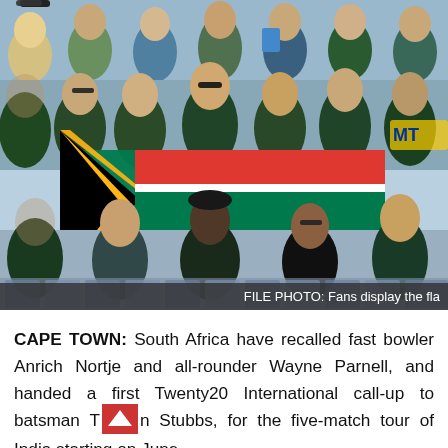[Figure (photo): Crowd of sports fans in stadium stands displaying a South African flag (green, yellow, red, white, blue). People wearing sunglasses, caps, team jerseys. Some holding blue cups. Taken at a cricket or rugby venue.]
FILE PHOTO: Fans display the fla
CAPE TOWN: South Africa have recalled fast bowler Anrich Nortje and all-rounder Wayne Parnell, and handed a first Twenty20 International call-up to batsman Tristan Stubbs, for the five-match tour of India starting on June